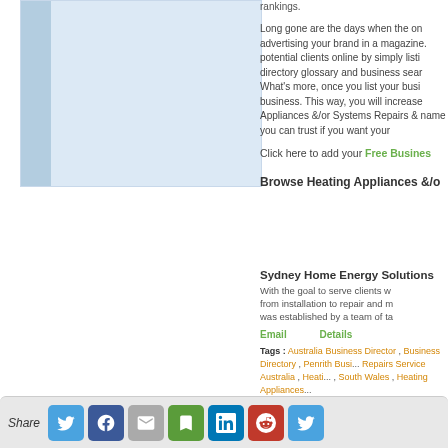[Figure (photo): Blue/light blue placeholder image area on the left column]
rankings.
Long gone are the days when the only way of advertising your brand in a magazine. Reach potential clients online by simply listing in our directory glossary and business search engine. What's more, once you list your business, you will increase Appliances &/or Systems Repairs & name you can trust if you want your
Click here to add your Free Busines...
Browse Heating Appliances &/o...
Sydney Home Energy Solutions
With the goal to serve clients w... from installation to repair and m... was established by a team of ta...
Email    Details
Tags : Australia Business Directory, Business Directory , Penrith Busi..., Repairs Service Australia , Heati..., South Wales , Heating Appliances...